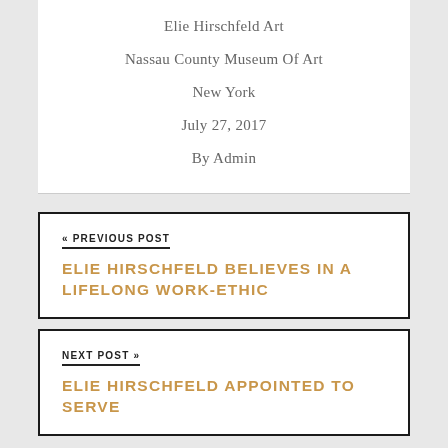Elie Hirschfeld Art
Nassau County Museum Of Art
New York
July 27, 2017
By Admin
« PREVIOUS POST
ELIE HIRSCHFELD BELIEVES IN A LIFELONG WORK-ETHIC
NEXT POST »
ELIE HIRSCHFELD APPOINTED TO SERVE